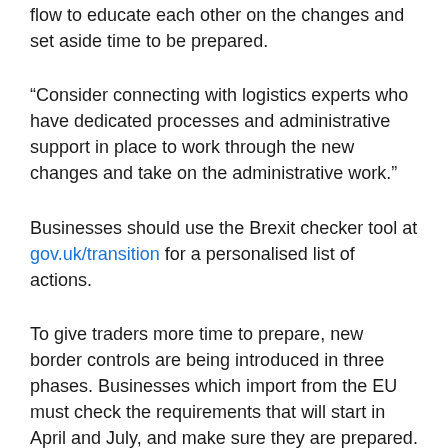flow to educate each other on the changes and set aside time to be prepared.
“Consider connecting with logistics experts who have dedicated processes and administrative support in place to work through the new changes and take on the administrative work.”
Businesses should use the Brexit checker tool at gov.uk/transition for a personalised list of actions.
To give traders more time to prepare, new border controls are being introduced in three phases. Businesses which import from the EU must check the requirements that will start in April and July, and make sure they are prepared.